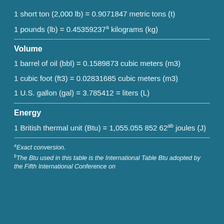1 short ton (2,000 lb) = 0.9071847 metric tons (t)
1 pounds (lb) = 0.45359237a kilograms (kg)
Volume
1 barrel of oil (bbl) = 0.1589873 cubic meters (m3)
1 cubic foot (ft3) = 0.02831685 cubic meters (m3)
1 U.S. gallon (gal) = 3.785412 = liters (L)
Energy
1 British thermal unit (Btu) = 1,055.055 852 62ab joules (J)
aExact conversion.
bThe Btu used in this table is the International Table Btu adopted by the Fifth International Conference on